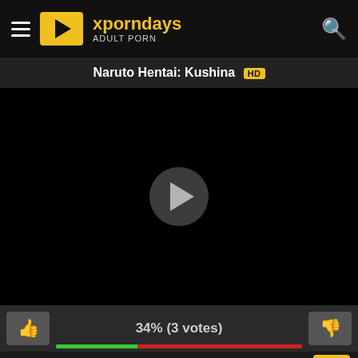xporndays ADULT PORN
Naruto Hentai: Kushina HD
[Figure (screenshot): Video player with black background and circular play button in center]
34% (3 votes)
01:36